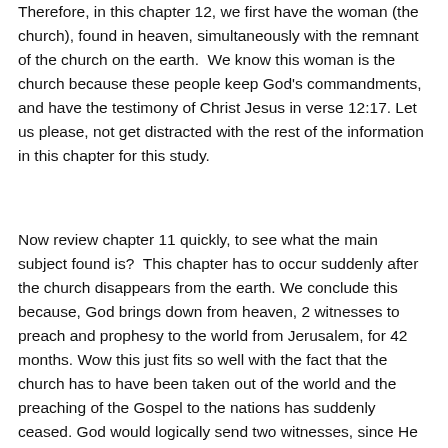Therefore, in this chapter 12, we first have the woman (the church), found in heaven, simultaneously with the remnant of the church on the earth. We know this woman is the church because these people keep God's commandments, and have the testimony of Christ Jesus in verse 12:17. Let us please, not get distracted with the rest of the information in this chapter for this study.
Now review chapter 11 quickly, to see what the main subject found is? This chapter has to occur suddenly after the church disappears from the earth. We conclude this because, God brings down from heaven, 2 witnesses to preach and prophesy to the world from Jerusalem, for 42 months. Wow this just fits so well with the fact that the church has to have been taken out of the world and the preaching of the Gospel to the nations has suddenly ceased. God would logically send two witnesses, since He